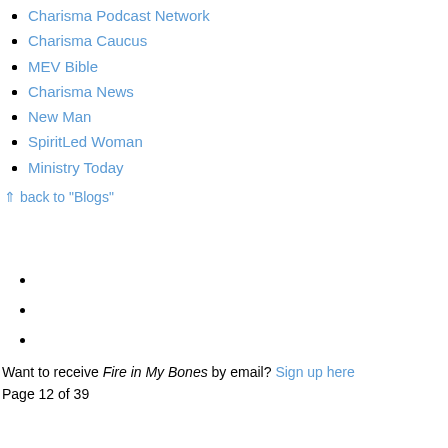Charisma Podcast Network
Charisma Caucus
MEV Bible
Charisma News
New Man
SpiritLed Woman
Ministry Today
⇑ back to "Blogs"
Want to receive Fire in My Bones by email? Sign up here
Page 12 of 39